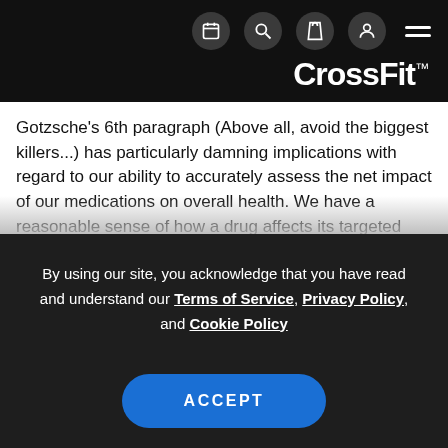CrossFit navigation header with icons
Gotzsche's 6th paragraph (Above all, avoid the biggest killers...) has particularly damning implications with regard to our ability to accurately assess the net impact of our medications on overall health. We have a reasonable sense of how a drug affects its targeted condition - i.e., how a heart disease drug affects heart disease morbidity / mortality. But it seems hard to believe we could understand
By using our site, you acknowledge that you have read and understand our Terms of Service, Privacy Policy, and Cookie Policy
ACCEPT